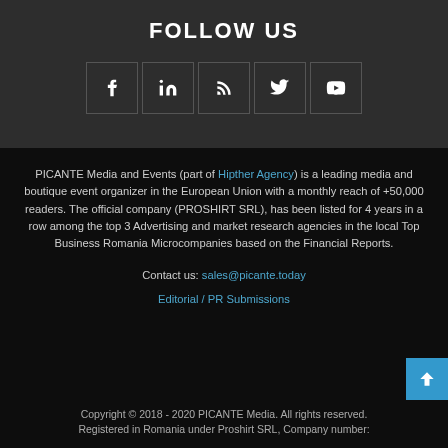FOLLOW US
[Figure (infographic): Five social media icon boxes: Facebook (f), LinkedIn (in), RSS feed, Twitter (bird), YouTube (play button)]
PICANTE Media and Events (part of Hipther Agency) is a leading media and boutique event organizer in the European Union with a monthly reach of +50,000 readers. The official company (PROSHIRT SRL), has been listed for 4 years in a row among the top 3 Advertising and market research agencies in the local Top Business Romania Microcompanies based on the Financial Reports.
Contact us: sales@picante.today
Editorial / PR Submissions
Copyright © 2018 - 2020 PICANTE Media. All rights reserved. Registered in Romania under Proshirt SRL, Company number: